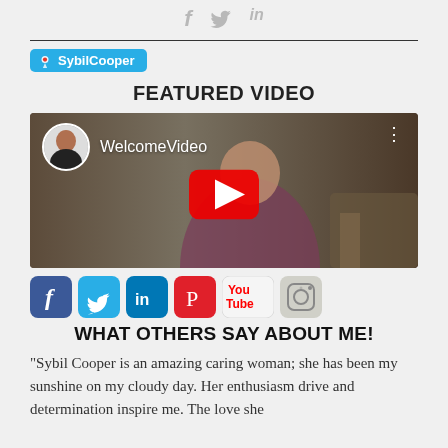[Figure (other): Social media sharing icons: Facebook (f), Twitter bird, LinkedIn (in)]
[Figure (other): Periscope badge labeled SybilCooper]
FEATURED VIDEO
[Figure (other): YouTube video thumbnail showing a woman seated, with a circular avatar, title 'WelcomeVideo', and a red YouTube play button overlay]
[Figure (other): Row of social media icons: Facebook, Twitter, LinkedIn, Pinterest, YouTube, Instagram]
WHAT OTHERS SAY ABOUT ME!
“Sybil Cooper is an amazing caring woman; she has been my sunshine on my cloudy day. Her enthusiasm drive and determination inspire me. The love she